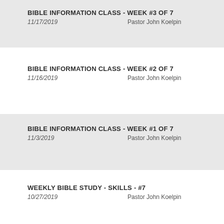BIBLE INFORMATION CLASS - WEEK #3 OF 7
11/17/2019    Pastor John Koelpin
BIBLE INFORMATION CLASS - WEEK #2 OF 7
11/16/2019    Pastor John Koelpin
BIBLE INFORMATION CLASS - WEEK #1 OF 7
11/3/2019    Pastor John Koelpin
WEEKLY BIBLE STUDY - SKILLS - #7
10/27/2019    Pastor John Koelpin